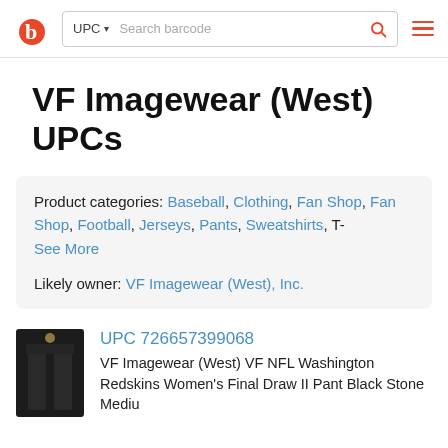UPC ▾  Search barcode [search icon] [menu icon]
VF Imagewear (West) UPCs
Product categories: Baseball, Clothing, Fan Shop, Fan Shop, Football, Jerseys, Pants, Sweatshirts, T- See More
Likely owner: VF Imagewear (West), Inc.
UPC 726657399068
VF Imagewear (West) VF NFL Washington Redskins Women's Final Draw II Pant Black Stone Medium